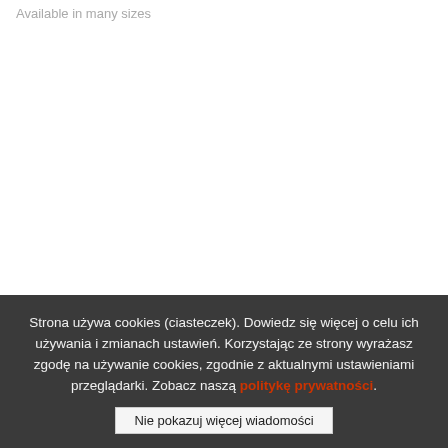Available in many sizes
[Figure (other): A loading spinner made of purple circles of varying sizes arranged in a circular pattern]
Strona używa cookies (ciasteczek). Dowiedz się więcej o celu ich używania i zmianach ustawień. Korzystając ze strony wyrażasz zgodę na używanie cookies, zgodnie z aktualnymi ustawieniami przeglądarki. Zobacz naszą politykę prywatności.
Nie pokazuj więcej wiadomości